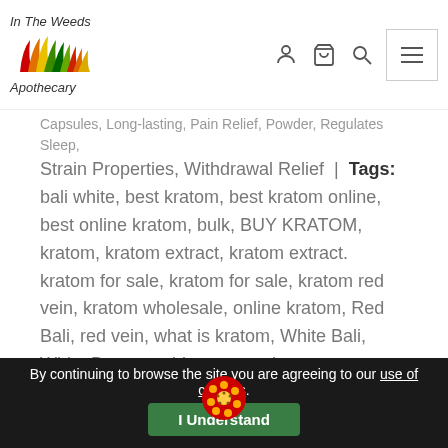In The Weeds Apothecary — navigation header with logo, user, cart, search, and menu icons
Capsules, Long-lasting, Pain Relief, Powder, Regulates Sleep, Strain Properties, Withdrawal Relief | Tags: bali white, best kratom, best kratom online, best online kratom, bulk, BUY KRATOM, kratom, kratom extract, kratom extract, kratom for sale, kratom for sale, kratom red vein, kratom wholesale, online kratom, Red Bali, red vein, what is kratom, White Bali, White Borneo, white maeng da
Share this:
Tweet
Share
WhatsApp
Print
Email
By continuing to browse the site you are agreeing to our use of cookies. I Understand